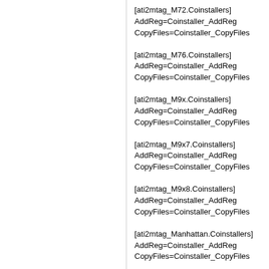[ati2mtag_M72.Coinstallers]
AddReg=Coinstaller_AddReg
CopyFiles=Coinstaller_CopyFiles
[ati2mtag_M76.Coinstallers]
AddReg=Coinstaller_AddReg
CopyFiles=Coinstaller_CopyFiles
[ati2mtag_M9x.Coinstallers]
AddReg=Coinstaller_AddReg
CopyFiles=Coinstaller_CopyFiles
[ati2mtag_M9x7.Coinstallers]
AddReg=Coinstaller_AddReg
CopyFiles=Coinstaller_CopyFiles
[ati2mtag_M9x8.Coinstallers]
AddReg=Coinstaller_AddReg
CopyFiles=Coinstaller_CopyFiles
[ati2mtag_Manhattan.Coinstallers]
AddReg=Coinstaller_AddReg
CopyFiles=Coinstaller_CopyFiles
[ati2mtag_ManhattanP.Coinstallers]
AddReg=Coinstaller_AddReg
CopyFiles=Coinstaller_CopyFiles
[ati2mtag_NI.Coinstallers]
AddReg=Coinstaller_AddReg
CopyFiles=Coinstaller_CopyFiles